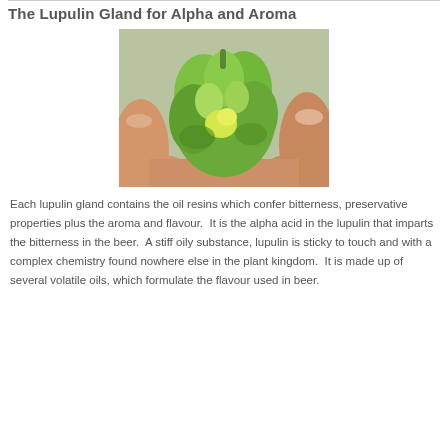The Lupulin Gland for Alpha and Aroma
[Figure (photo): Close-up photograph of fingers holding a green hop cone, showing the lupulin glands inside the hop bract.]
Each lupulin gland contains the oil resins which confer bitterness, preservative properties plus the aroma and flavour.  It is the alpha acid in the lupulin that imparts the bitterness in the beer.  A stiff oily substance, lupulin is sticky to touch and with a complex chemistry found nowhere else in the plant kingdom.  It is made up of several volatile oils, which formulate the flavour used in beer.